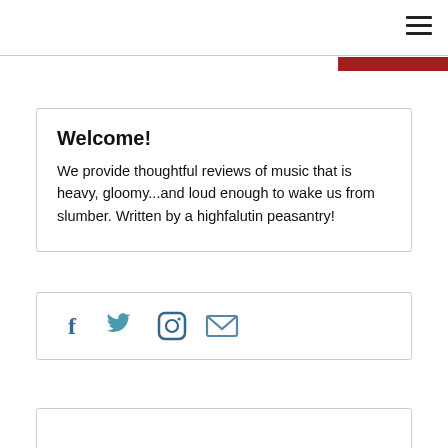Welcome!
We provide thoughtful reviews of music that is heavy, gloomy...and loud enough to wake us from slumber. Written by a highfalutin peasantry!
[Figure (infographic): Social media icons: Facebook, Twitter, Instagram, Email]